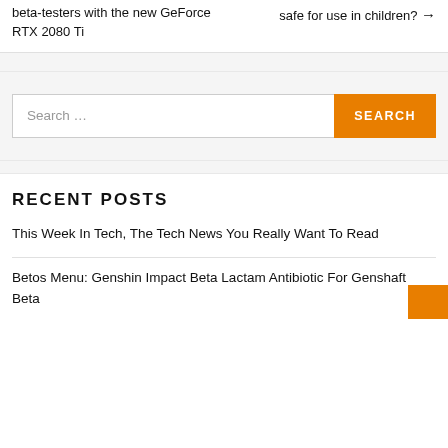beta-testers with the new GeForce RTX 2080 Ti
safe for use in children? →
Search …
SEARCH
RECENT POSTS
This Week In Tech, The Tech News You Really Want To Read
Betos Menu: Genshin Impact Beta Lactam Antibiotic For Genshaft Beta